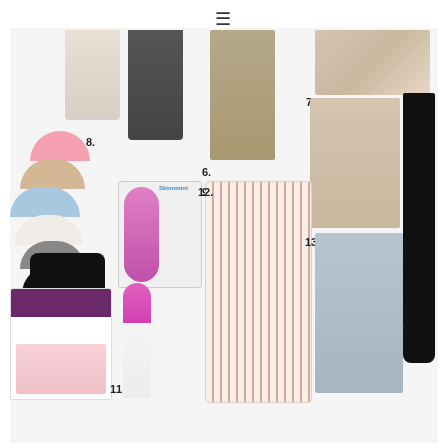[Figure (photo): Shopping collage of women's clothing and accessories with numbered items. Item 6: olive/khaki long-sleeve shirt. Items 7/13: beige shapewear bodysuit and gray nursing tank top. Item 8: multicolor bra pads (pink, tan, blue, white, gray, black). Item 9: pink electric shaver with packaging. Item 10: black balaclava/face mask. Items 11/Silhouette: Depend Silhouette incontinence underwear box. Item 12: striped blazer/shirt dress in pink and white. Item 13: gray nursing tank top. Item 14: black high-waist leggings. Also visible: beige and dark gray maxi skirts at top.]